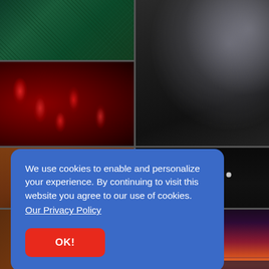[Figure (photo): Grid of 6 nature/abstract photos: pine needles (top-left), glittery dark surface (top-right spanning two rows), red bacteria microscope image (middle-left), flower buds on dark background (middle-right), terracotta roof (bottom-left), sunset scene (bottom-right)]
We use cookies to enable and personalize your experience. By continuing to visit this website you agree to our use of cookies. Our Privacy Policy
OK!